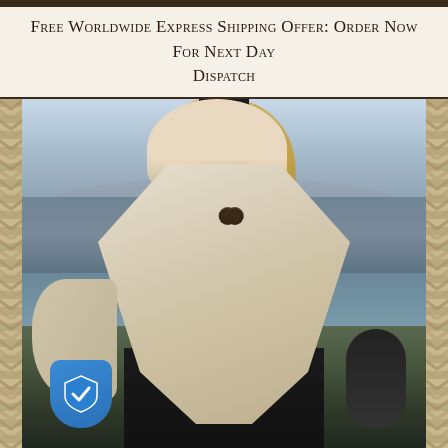Free Worldwide Express Shipping Offer: Order Now For Next Day Dispatch
[Figure (photo): A woman wearing a cream/beige cable-knit Aran wool poncho with two dark buttons at the neckline, paired with a black turtleneck underneath. She is standing outdoors near a beach/coastal setting with the sea and sandy dunes in the background. Her blonde hair is loose. A blue security/trust badge appears in the lower left corner of the image.]